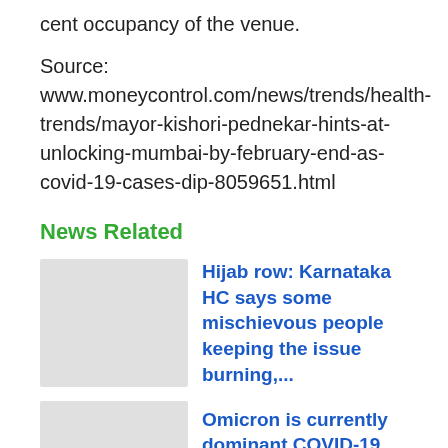cent occupancy of the venue.
Source: www.moneycontrol.com/news/trends/health-trends/mayor-kishori-pednekar-hints-at-unlocking-mumbai-by-february-end-as-covid-19-cases-dip-8059651.html
News Related
Hijab row: Karnataka HC says some mischievous people keeping the issue burning,...
Omicron is currently dominant COVID-19 variant in India: Govt